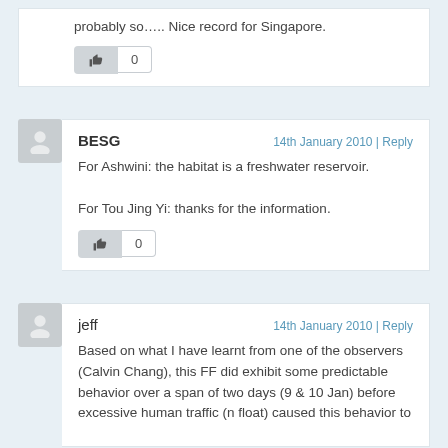probably so….. Nice record for Singapore.
BESG | 14th January 2010 | Reply
For Ashwini: the habitat is a freshwater reservoir.

For Tou Jing Yi: thanks for the information.
jeff | 14th January 2010 | Reply
Based on what I have learnt from one of the observers (Calvin Chang), this FF did exhibit some predictable behavior over a span of two days (9 & 10 Jan) before excessive human traffic (n float) caused this behavior to